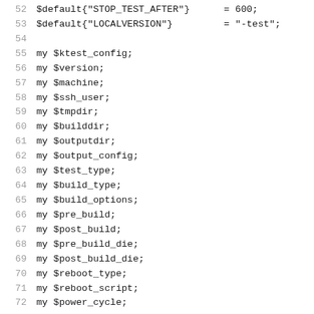52    $default{"STOP_TEST_AFTER"}      = 600;
53    $default{"LOCALVERSION"}          = "-test";
54
55    my $ktest_config;
56    my $version;
57    my $machine;
58    my $ssh_user;
59    my $tmpdir;
60    my $builddir;
61    my $outputdir;
62    my $output_config;
63    my $test_type;
64    my $build_type;
65    my $build_options;
66    my $pre_build;
67    my $post_build;
68    my $pre_build_die;
69    my $post_build_die;
70    my $reboot_type;
71    my $reboot_script;
72    my $power_cycle;